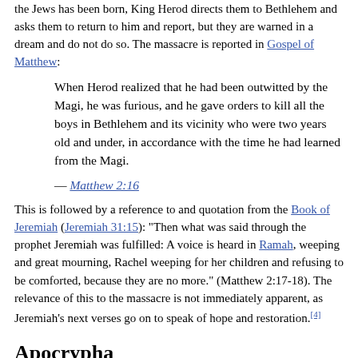the Jews has been born, King Herod directs them to Bethlehem and asks them to return to him and report, but they are warned in a dream and do not do so. The massacre is reported in Gospel of Matthew:
When Herod realized that he had been outwitted by the Magi, he was furious, and he gave orders to kill all the boys in Bethlehem and its vicinity who were two years old and under, in accordance with the time he had learned from the Magi.
— Matthew 2:16
This is followed by a reference to and quotation from the Book of Jeremiah (Jeremiah 31:15): "Then what was said through the prophet Jeremiah was fulfilled: A voice is heard in Ramah, weeping and great mourning, Rachel weeping for her children and refusing to be comforted, because they are no more." (Matthew 2:17-18). The relevance of this to the massacre is not immediately apparent, as Jeremiah's next verses go on to speak of hope and restoration.[4]
Apocrypha
The apocryphal Protoevangelium of James describes how